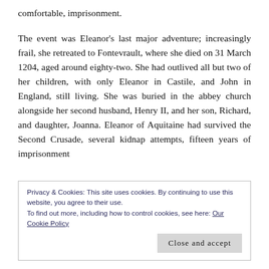comfortable, imprisonment.
The event was Eleanor's last major adventure; increasingly frail, she retreated to Fontevrault, where she died on 31 March 1204, aged around eighty-two. She had outlived all but two of her children, with only Eleanor in Castile, and John in England, still living. She was buried in the abbey church alongside her second husband, Henry II, and her son, Richard, and daughter, Joanna. Eleanor of Aquitaine had survived the Second Crusade, several kidnap attempts, fifteen years of imprisonment
Privacy & Cookies: This site uses cookies. By continuing to use this website, you agree to their use.
To find out more, including how to control cookies, see here: Our Cookie Policy
Close and accept